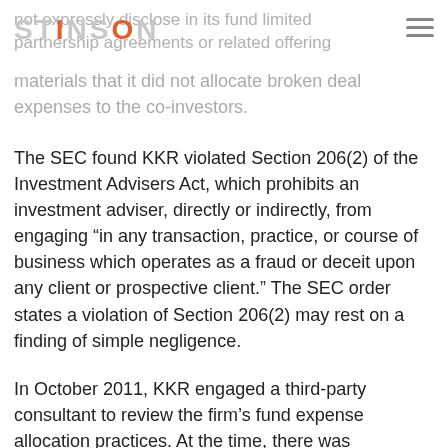STINSON
not expressly disclose in its fund limited partnership agreements or related offering materials that it did not allocate broken deal expenses to the co-investors.
The SEC found KKR violated Section 206(2) of the Investment Advisers Act, which prohibits an investment adviser, directly or indirectly, from engaging “in any transaction, practice, or course of business which operates as a fraud or deceit upon any client or prospective client.” The SEC order states a violation of Section 206(2) may rest on a finding of simple negligence.
In October 2011, KKR engaged a third-party consultant to review the firm’s fund expense allocation practices. At the time, there was